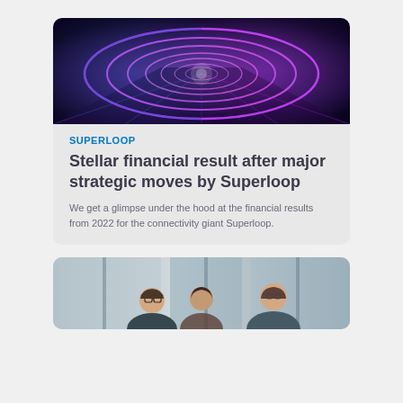[Figure (photo): Glowing neon tunnel with blue and purple/pink light rings converging to a vanishing point, overhead view of a road surface]
SUPERLOOP
Stellar financial result after major strategic moves by Superloop
We get a glimpse under the hood at the financial results from 2022 for the connectivity giant Superloop.
[Figure (photo): Two people in a modern office with large windows, a man with glasses on the left and a woman on the right, appearing to be in conversation]